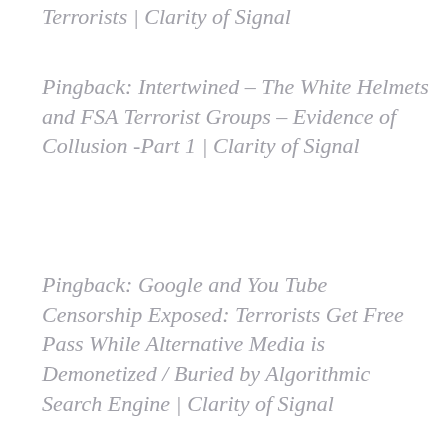Terrorists | Clarity of Signal
Pingback: Intertwined – The White Helmets and FSA Terrorist Groups – Evidence of Collusion -Part 1 | Clarity of Signal
Pingback: Google and You Tube Censorship Exposed: Terrorists Get Free Pass While Alternative Media is Demonetized / Buried by Algorithmic Search Engine | Clarity of Signal